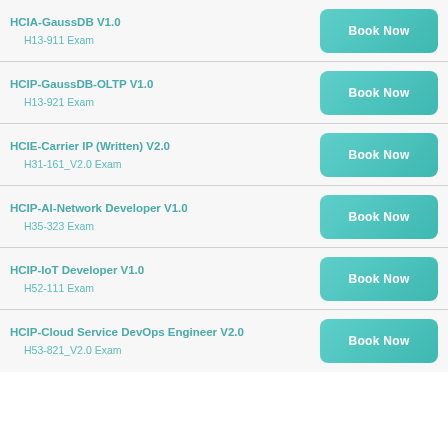HCIA-GaussDB V1.0 — H13-911 Exam — Book Now
HCIP-GaussDB-OLTP V1.0 — H13-921 Exam — Book Now
HCIE-Carrier IP (Written) V2.0 — H31-161_V2.0 Exam — Book Now
HCIP-AI-Network Developer V1.0 — H35-323 Exam — Book Now
HCIP-IoT Developer V1.0 — H52-111 Exam — Book Now
HCIP-Cloud Service DevOps Engineer V2.0 — H53-821_V2.0 Exam — Book Now